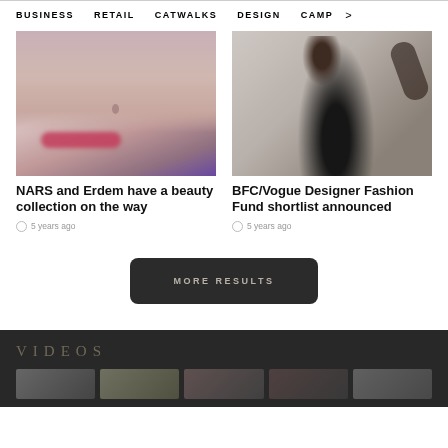BUSINESS   RETAIL   CATWALKS   DESIGN   CAMP >
[Figure (photo): Close-up of a woman's face with dramatic makeup, purple flowers in background, bold pink lipstick]
NARS and Erdem have a beauty collection on the way
5 years ago
[Figure (photo): Fashion model wearing a black sleeveless dress, arms raised, neutral background]
BFC/Vogue Designer Fashion Fund shortlist announced
5 years ago
MORE RESULTS
VIDEOS